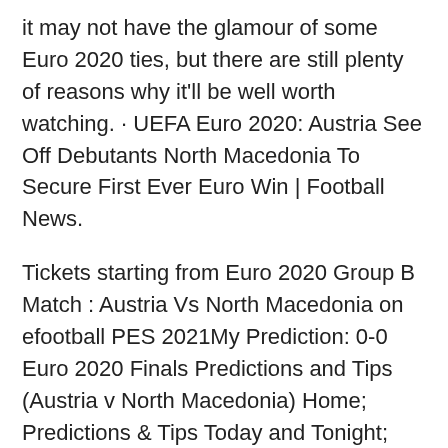it may not have the glamour of some Euro 2020 ties, but there are still plenty of reasons why it'll be well worth watching. · UEFA Euro 2020: Austria See Off Debutants North Macedonia To Secure First Ever Euro Win | Football News.
Tickets starting from Euro 2020 Group B Match : Austria Vs North Macedonia on efootball PES 2021My Prediction: 0-0 Euro 2020 Finals Predictions and Tips (Austria v North Macedonia) Home; Predictions & Tips Today and Tonight; Euro 2020 Finals Tips; Accumulator Tips & Predictions; Austria vs North Macedonia TV Guide, UEFA Euro Cup 2020 Match: Austria vs North Macedonia 6th match of UEFA European Football Championship 2020-21 Date: June 13, 2021 UEFA Euro Cup 2020 TV Guide, UEFA European Football Championship 2021 UEFA Euro 2020 is the 16th UEFA